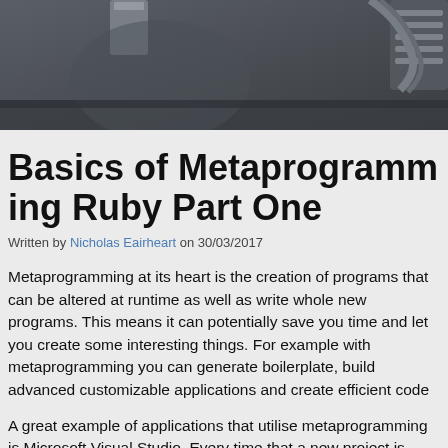[Figure (photo): Dark grey banner/header image with mechanical or industrial elements visible, partially cropped at the top of the page]
Basics of Metaprogramming Ruby Part One
Written by Nicholas Eairheart on 30/03/2017
Metaprogramming at its heart is the creation of programs that can be altered at runtime as well as write whole new programs. This means it can potentially save you time and let you create some interesting things. For example with metaprogramming you can generate boilerplate, build advanced customizable applications and create efficient code
A great example of applications that utilise metaprogramming is Microsoft Visual Studio. Every time that a new project is created